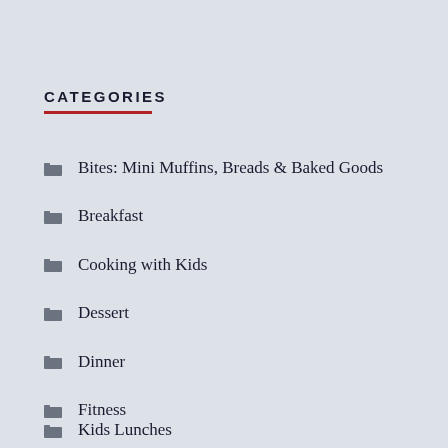CATEGORIES
Bites: Mini Muffins, Breads & Baked Goods
Breakfast
Cooking with Kids
Dessert
Dinner
Fitness
Kids Lunches